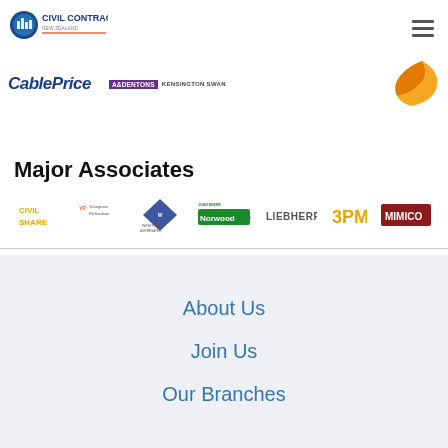[Figure (logo): Civil Contractors New Zealand logo - top left navigation header]
[Figure (logo): Hamburger menu icon top right]
[Figure (logo): CablePrice logo - bold blue italic text]
[Figure (logo): A&L Dentons Kensington Swan logo]
[Figure (logo): Orange/yellow swoosh logo top right]
Major Associates
[Figure (logo): Row of 7 associate logos: Civil Share, Youngman Richardson, Winstone Aggregates, John Deere / Norwood, Liebherr, 3PM, Mimico]
About Us
Join Us
Our Branches